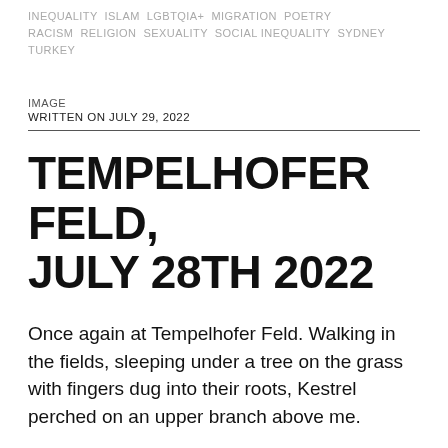INEQUALITY  ISLAM  LGBTQIA+  MIGRATION  POETRY  RACISM  RELIGION  SEXUALITY  SOCIAL INEQUALITY  SYDNEY  TURKEY
IMAGE
WRITTEN ON JULY 29, 2022
TEMPELHOFER FELD, JULY 28TH 2022
Once again at Tempelhofer Feld. Walking in the fields, sleeping under a tree on the grass with fingers dug into their roots, Kestrel perched on an upper branch above me.